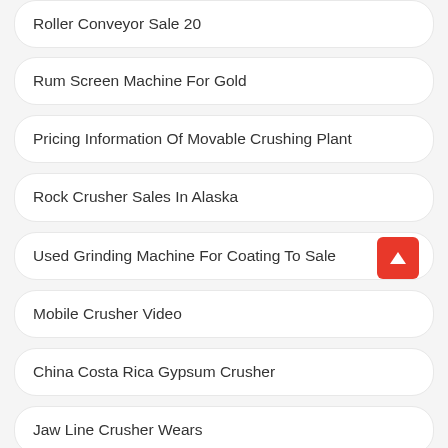Roller Conveyor Sale 20
Rum Screen Machine For Gold
Pricing Information Of Movable Crushing Plant
Rock Crusher Sales In Alaska
Used Grinding Machine For Coating To Sale
Mobile Crusher Video
China Costa Rica Gypsum Crusher
Jaw Line Crusher Wears